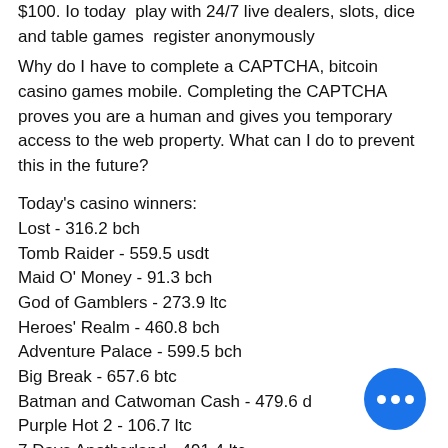$100. Io today  play with 24/7 live dealers, slots, dice and table games  register anonymously
Why do I have to complete a CAPTCHA, bitcoin casino games mobile. Completing the CAPTCHA proves you are a human and gives you temporary access to the web property. What can I do to prevent this in the future?
Today's casino winners:
Lost - 316.2 bch
Tomb Raider - 559.5 usdt
Maid O' Money - 91.3 bch
God of Gamblers - 273.9 ltc
Heroes' Realm - 460.8 bch
Adventure Palace - 599.5 bch
Big Break - 657.6 btc
Batman and Catwoman Cash - 479.6 d...
Purple Hot 2 - 106.7 ltc
7 Days Anotherland - 491.4 ltc